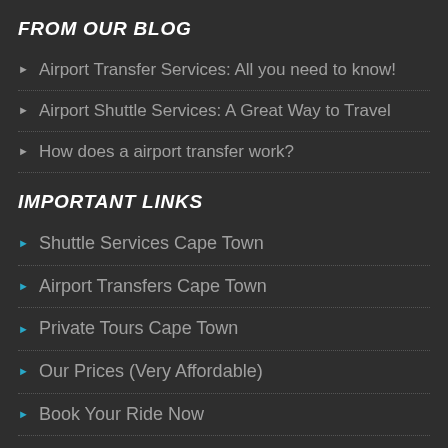FROM OUR BLOG
Airport Transfer Services: All you need to know!
Airport Shuttle Services: A Great Way to Travel
How does a airport transfer work?
IMPORTANT LINKS
Shuttle Services Cape Town
Airport Transfers Cape Town
Private Tours Cape Town
Our Prices (Very Affordable)
Book Your Ride Now